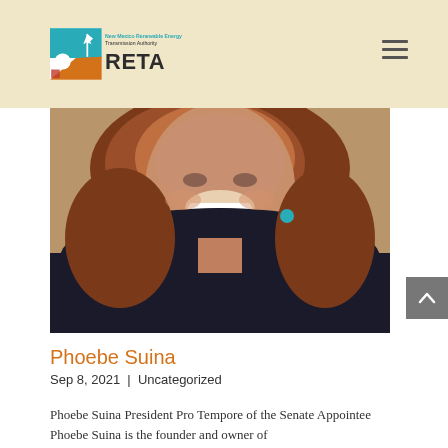New Mexico Renewable Energy Transmission Authority RETA
[Figure (photo): Close-up portrait photo of a smiling woman with auburn hair, wearing a dark jacket and turquoise earring.]
Phoebe Suina
Sep 8, 2021 | Uncategorized
Phoebe Suina President Pro Tempore of the Senate Appointee Phoebe Suina is the founder and owner of